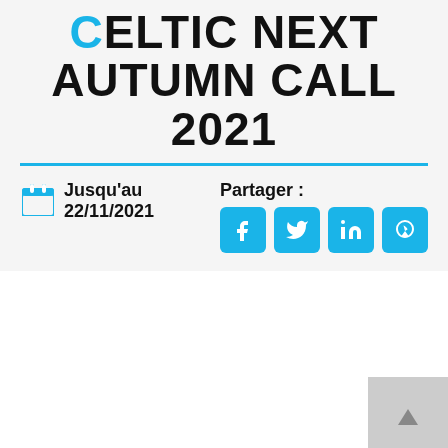CELTIC NEXT AUTUMN CALL 2021
Jusqu'au
22/11/2021
Partager :
[Figure (infographic): Social share buttons: Facebook, Twitter, LinkedIn, and a plant/leaf icon, all in cyan/sky-blue rounded squares]